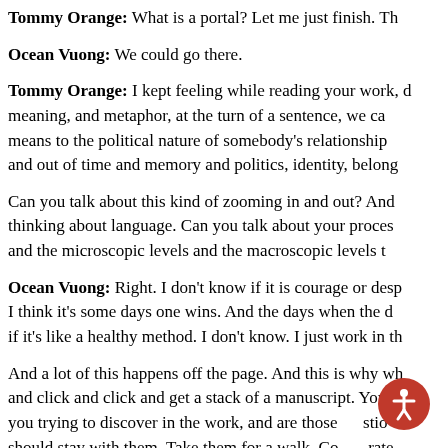Tommy Orange: What is a portal? Let me just finish. Th…
Ocean Vuong: We could go there.
Tommy Orange: I kept feeling while reading your work, d… meaning, and metaphor, at the turn of a sentence, we ca… means to the political nature of somebody's relationship… and out of time and memory and politics, identity, belong…
Can you talk about this kind of zooming in and out? And… thinking about language. Can you talk about your proces… and the microscopic levels and the macroscopic levels t…
Ocean Vuong: Right. I don't know if it is courage or desp… I think it's some days one wins. And the days when the d… if it's like a healthy method. I don't know. I just work in th…
And a lot of this happens off the page. And this is why wh… and click and click and get a stack of a manuscript. You n… you trying to discover in the work, and are those stio… should stay with them. Take them for a walk. Co rate…